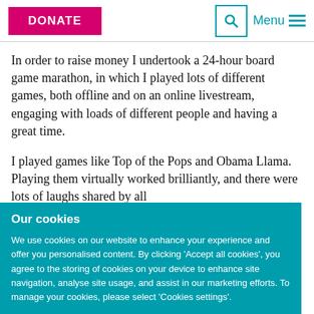DONATE | Menu
In order to raise money I undertook a 24-hour board game marathon, in which I played lots of different games, both offline and on an online livestream, engaging with loads of different people and having a great time.
I played games like Top of the Pops and Obama Llama. Playing them virtually worked brilliantly, and there were lots of laughs shared by all
Our cookies
We use cookies on our website to enhance your experience and offer you personalised content. By clicking 'Accept all cookies', you agree to the storing of cookies on your device to enhance site navigation, analyse site usage, and assist in our marketing efforts. To manage your cookies, please select 'Cookies settings'.